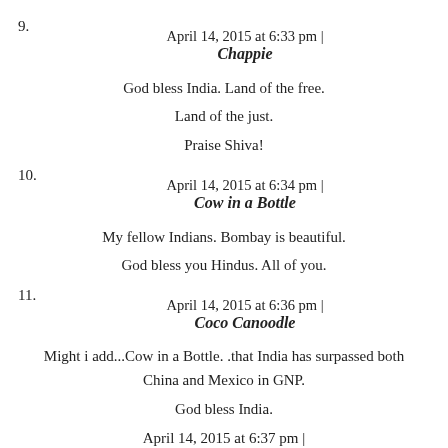9. April 14, 2015 at 6:33 pm | Chappie
God bless India. Land of the free.
Land of the just.
Praise Shiva!
10. April 14, 2015 at 6:34 pm | Cow in a Bottle
My fellow Indians. Bombay is beautiful.
God bless you Hindus. All of you.
11. April 14, 2015 at 6:36 pm | Coco Canoodle
Might i add...Cow in a Bottle. .that India has surpassed both China and Mexico in GNP.
God bless India.
April 14, 2015 at 6:37 pm |